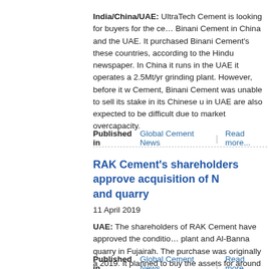India/China/UAE: UltraTech Cement is looking for buyers for the cement assets of Binani Cement in China and the UAE. It purchased Binani Cement's assets in these countries, according to the Hindu newspaper. In China it runs a plant and in the UAE it operates a 2.5Mt/yr grinding plant. However, before it was sold to UltraTech Cement, Binani Cement was unable to sell its stake in its Chinese unit. Sales in UAE are also expected to be difficult due to market overcapacity.
Published in  Global Cement News  |  Read more...
RAK Cement's shareholders approve acquisition of plant and quarry
11 April 2019
UAE: The shareholders of RAK Cement have approved the conditional purchase of a plant and Al-Banna quarry in Fujairah. The purchase was originally announced in early 2019. It planned to buy the assets for around US$123m.
Published in  Global Cement News  |  Read more...
Ras al Cement shareholders falling profit...